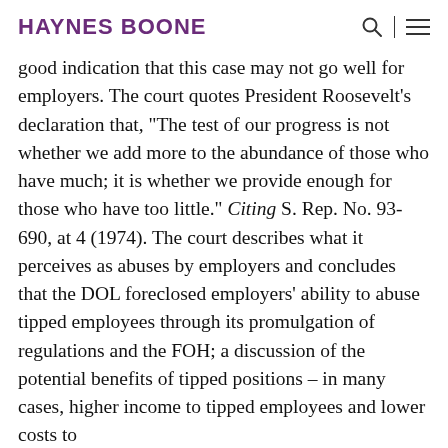HAYNES BOONE
good indication that this case may not go well for employers. The court quotes President Roosevelt’s declaration that, “The test of our progress is not whether we add more to the abundance of those who have much; it is whether we provide enough for those who have too little.” Citing S. Rep. No. 93-690, at 4 (1974). The court describes what it perceives as abuses by employers and concludes that the DOL foreclosed employers’ ability to abuse tipped employees through its promulgation of regulations and the FOH; a discussion of the potential benefits of tipped positions – in many cases, higher income to tipped employees and lower costs to